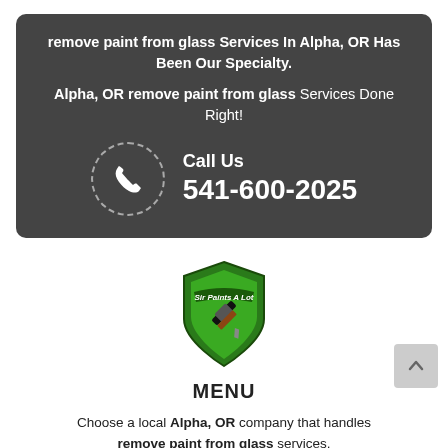remove paint from glass Services In Alpha, OR Has Been Our Specialty.
Alpha, OR remove paint from glass Services Done Right!
Call Us
541-600-2025
[Figure (logo): Sir Paints A Lot shield logo — green shield with crossed paint roller and brush, banner reading 'Sir Paints A Lot']
MENU
Choose a local Alpha, OR company that handles remove paint from glass services.
If you need remove paint from glass services